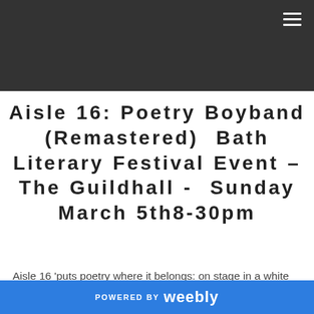Aisle 16: Poetry Boyband (Remastered) Bath Literary Festival Event – The Guildhall - Sunday March 5th8-30pm
Aisle 16 'puts poetry where it belongs: on stage in a white
POWERED BY weebly